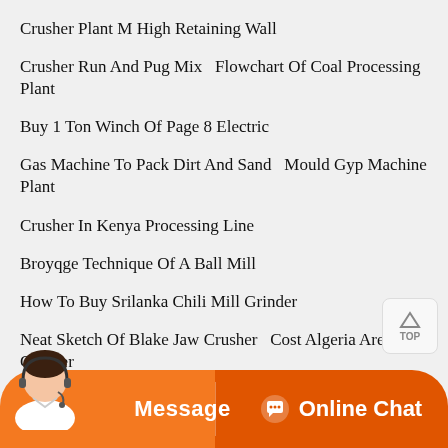Crusher Plant M High Retaining Wall
Crusher Run And Pug Mix   Flowchart Of Coal Processing Plant
Buy 1 Ton Winch Of Page 8 Electric
Gas Machine To Pack Dirt And Sand   Mould Gyp Machine Plant
Crusher In Kenya Processing Line
Broyqge Technique Of A Ball Mill
How To Buy Srilanka Chili Mill Grinder
Neat Sketch Of Blake Jaw Crusher   Cost Algeria Are Crusher
Milling Machine Nano   China Granite Crusher Machine Price
Portable Coal Crusher Price Angola
Operation Pe Series Jaw Crusher
Crusher Plant Manufacturers Stone   Friendly Crap Ball Mill
[Figure (other): Customer service chat interface with orange bar showing Message and Online Chat buttons, and a customer service avatar]